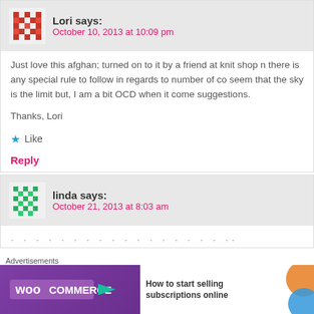Lori says:
October 10, 2013 at 10:09 pm
Just love this afghan; turned on to it by a friend at knit shop n there is any special rule to follow in regards to number of co seem that the sky is the limit but, I am a bit OCD when it come suggestions.

Thanks, Lori
★ Like
Reply
linda says:
October 21, 2013 at 8:03 am
Advertisements
[Figure (infographic): WooCommerce advertisement banner with purple background, WooCommerce logo with arrow, and text 'How to start selling subscriptions online']